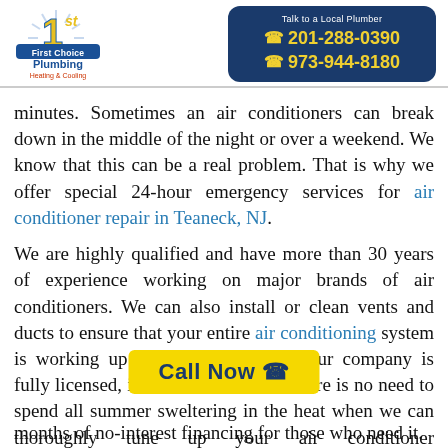[Figure (logo): First Choice Plumbing Heating & Cooling logo with '1st' in gold and blue]
[Figure (infographic): Dark blue rounded rectangle phone box: 'Talk to a Local Plumber', phone numbers 201-288-0390 and 973-944-8180 in yellow]
minutes. Sometimes an air conditioners can break down in the middle of the night or over a weekend. We know that this can be a real problem. That is why we offer special 24-hour emergency services for air conditioner repair in Teaneck, NJ.
We are highly qualified and have more than 30 years of experience working on major brands of air conditioners. We can also install or clean vents and ducts to ensure that your entire air conditioning system is working up to its full potential. Our company is fully licensed, insured and bonded. There is no need to spend all summer sweltering in the heat when we can thoroughly tune up your air conditioner f[…]also offer 18 months of no-interest financing for those who need it.
[Figure (infographic): Yellow 'Call Now' button with phone icon]